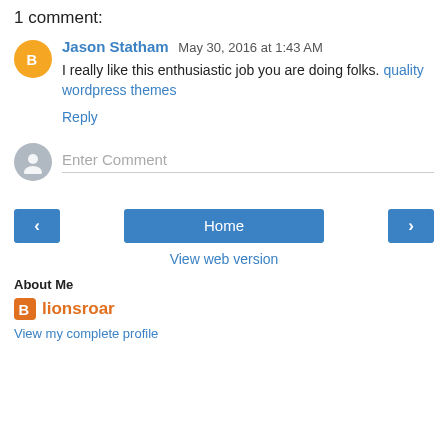1 comment:
Jason Statham  May 30, 2016 at 1:43 AM
I really like this enthusiastic job you are doing folks. quality wordpress themes
Reply
Enter Comment
Home
View web version
About Me
lionsroar
View my complete profile